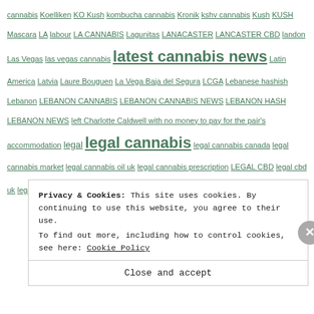cannabis Koelliken KO Kush kombucha cannabis Kronik kshv cannabis Kush KUSH Mascara LA labour LA CANNABIS Lagunitas LANACASTER LANCASTER CBD landon Las Vegas las vegas cannabis latest cannabis news Latin America Latvia Laure Bouguen La Vega Baja del Segura LCGA Lebanese hashish Lebanon LEBANON CANNABIS LEBANON CANNABIS NEWS LEBANON HASH LEBANON NEWS left Charlotte Caldwell with no money to pay for the pair's accommodation legal legal cannabis legal cannabis canada legal cannabis market legal cannabis oil uk legal cannabis prescription LEGAL CBD legal cbd uk legale weed legal grey zone legalisation legalisation
Privacy & Cookies: This site uses cookies. By continuing to use this website, you agree to their use. To find out more, including how to control cookies, see here: Cookie Policy
Close and accept